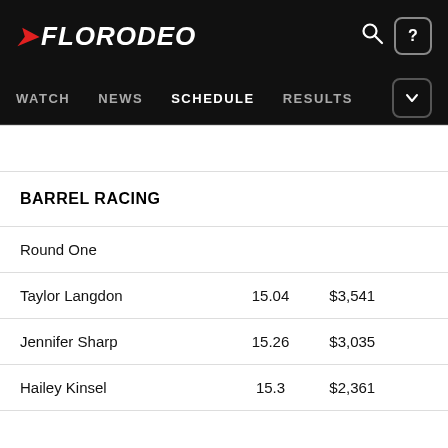FLORODEO — WATCH  NEWS  SCHEDULE  RESULTS
|  |  |  |  |
| --- | --- | --- | --- |
| BARREL RACING |  |  |  |
| Round One |  |  |  |
| Taylor Langdon | 15.04 | $3,541 |  |
| Jennifer Sharp | 15.26 | $3,035 |  |
| Hailey Kinsel | 15.3 | $2,361 |  |